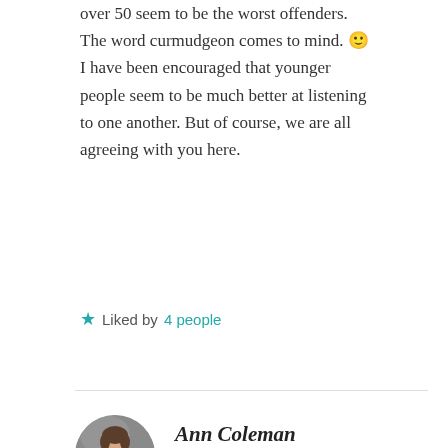over 50 seem to be the worst offenders. The word curmudgeon comes to mind. 🙂 I have been encouraged that younger people seem to be much better at listening to one another. But of course, we are all agreeing with you here.
★ Liked by 4 people
[Figure (photo): Circular avatar photo of Ann Coleman, a person in a white shirt and jeans against a grey stone background]
Ann Coleman
OCTOBER 15, 2017 AT 9:20 PM
LOL! I know, it is true that we all seem to be like-minded here in our belief that those with other views should be respected and allowed to speak their